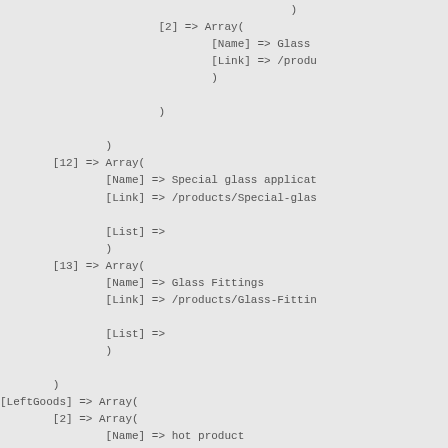)
                [2] => Array(
                        [Name] => Glass
                        [Link] => /produ
                        )

                )

        )
[12] => Array(
        [Name] => Special glass applicat
        [Link] => /products/Special-glas

        [List] =>
        )
[13] => Array(
        [Name] => Glass Fittings
        [Link] => /products/Glass-Fittin

        [List] =>
        )

)
[LeftGoods] => Array(
        [2] => Array(
                [Name] => hot product

                [Content] =>
                [Type] => 0

                [Count] => 5